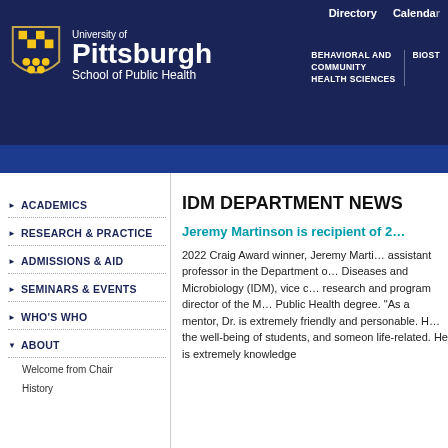[Figure (logo): University of Pittsburgh School of Public Health shield logo and wordmark on dark navy header]
Directory  Calendar | BEHAVIORAL AND COMMUNITY HEALTH SCIENCES | BIOST...
ACADEMICS
RESEARCH & PRACTICE
ADMISSIONS & AID
SEMINARS & EVENTS
WHO'S WHO
ABOUT
Welcome from Chair
History
IDM DEPARTMENT NEWS
Jeremy Martinson is recipient of 2...
2022 Craig Award winner, Jeremy Marti... assistant professor in the Department o... Diseases and Microbiology (IDM), vice c... research and program director of the M... Public Health degree. "As a mentor, Dr. is extremely friendly and personable. H... the well-being of students, and someon life-related. He is extremely knowledge